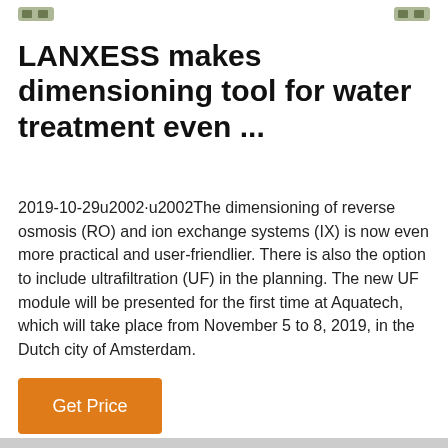[Figure (other): Two small icon/logo images at the top left and top right corners of the page]
LANXESS makes dimensioning tool for water treatment even ...
2019-10-29u2002·u2002The dimensioning of reverse osmosis (RO) and ion exchange systems (IX) is now even more practical and user-friendlier. There is also the option to include ultrafiltration (UF) in the planning. The new UF module will be presented for the first time at Aquatech, which will take place from November 5 to 8, 2019, in the Dutch city of Amsterdam.
Get Price